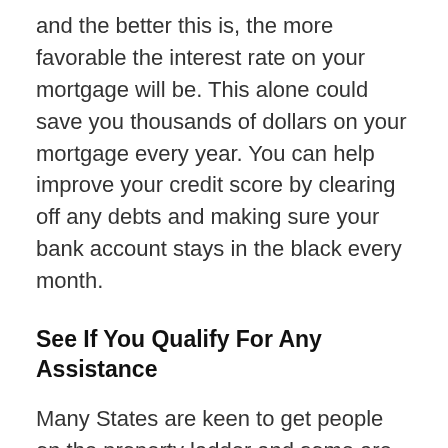and the better this is, the more favorable the interest rate on your mortgage will be. This alone could save you thousands of dollars on your mortgage every year. You can help improve your credit score by clearing off any debts and making sure your bank account stays in the black every month.
See If You Qualify For Any Assistance
Many States are keen to get people on the property ladder and some are offering assistance programs to help first time buyers close a deal on their property purchase. Not everyone will automatically qualify for assistance, but it's worth seeing if there are any home-buyer initiatives that you could be eligible for. They could save you money and make the process simpler.